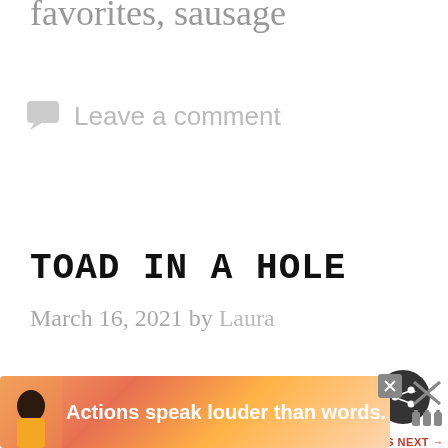favorites, sausage
Leave a comment
TOAD IN A HOLE
March 16, 2021 by Laura
[Figure (illustration): Share button icon (dark circle with share symbol)]
[Figure (illustration): What's Next promo: circular food photo thumbnail with text 'WHAT'S NEXT → Homemade Dumplings']
[Figure (illustration): Advertisement banner with person illustration and text 'Actions speak louder than words.']